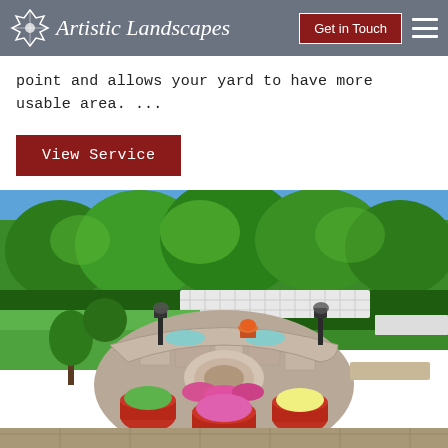Artistic Landscapes | Get in Touch
point and allows your yard to have more usable area. ...
View Service
[Figure (photo): Aerial view of a backyard patio with a circular stone fire pit surrounded by colorful flower pots, curved seating wall, decorative lamp posts, and lush green trees in the background, with a white lattice fence.]